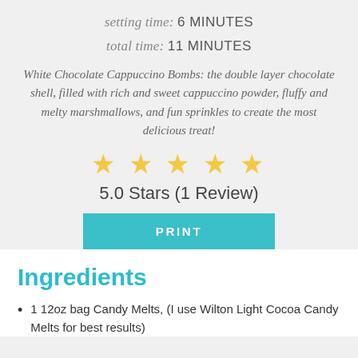setting time: 6 MINUTES
total time: 11 MINUTES
White Chocolate Cappuccino Bombs: the double layer chocolate shell, filled with rich and sweet cappuccino powder, fluffy and melty marshmallows, and fun sprinkles to create the most delicious treat!
[Figure (other): Five gold/yellow star rating icons]
5.0 Stars (1 Review)
PRINT
Ingredients
1 12oz bag Candy Melts, (I use Wilton Light Cocoa Candy Melts for best results)